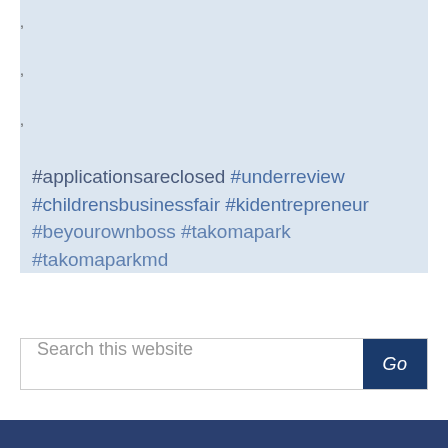[Figure (screenshot): Light blue background area with scattered comma/quote marks, partial view of a social media post]
#applicationsareclosed #underreview #childrensbusinessfair #kidentrepreneur #beyourownboss #takomapark #takomaparkmd
[Figure (screenshot): Search bar with placeholder 'Search this website' and a dark blue 'Go' button]